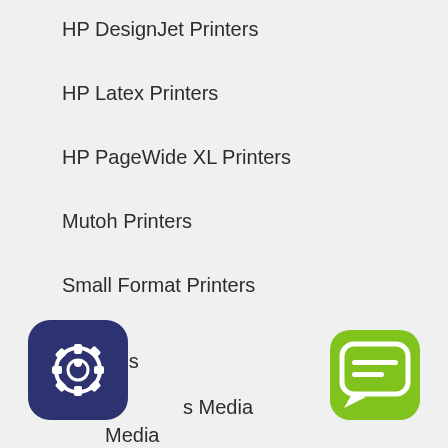HP DesignJet Printers
HP Latex Printers
HP PageWide XL Printers
Mutoh Printers
Small Format Printers
Supplies
s Media
Media
[Figure (illustration): Dark navy blue rounded square icon with a gear/settings symbol featuring a circular element]
[Figure (illustration): Green rounded square chat/message bubble icon]